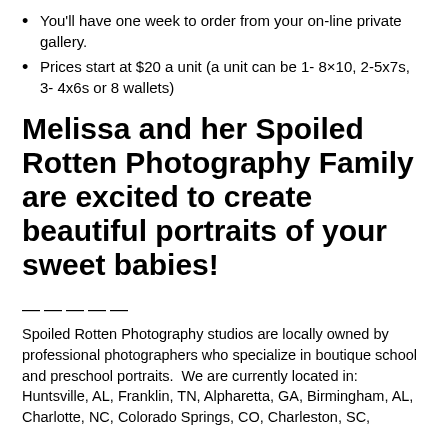You'll have one week to order from your on-line private gallery.
Prices start at $20 a unit (a unit can be 1- 8×10, 2-5x7s, 3- 4x6s or 8 wallets)
Melissa and her Spoiled Rotten Photography Family are excited to create beautiful portraits of your sweet babies!
—————
Spoiled Rotten Photography studios are locally owned by professional photographers who specialize in boutique school and preschool portraits.  We are currently located in: Huntsville, AL, Franklin, TN, Alpharetta, GA, Birmingham, AL, Charlotte, NC, Colorado Springs, CO, Charleston, SC,